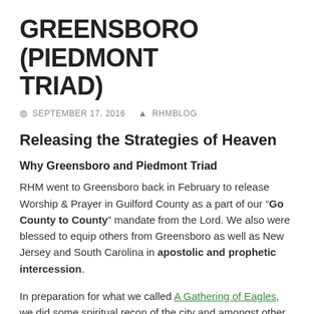GREENSBORO (PIEDMONT TRIAD)
SEPTEMBER 17, 2016   RHMBLOG
Releasing the Strategies of Heaven
Why Greensboro and Piedmont Triad
RHM went to Greensboro back in February to release Worship & Prayer in Guilford County as a part of our “Go County to County” mandate from the Lord. We also were blessed to equip others from Greensboro as well as New Jersey and South Carolina in apostolic and prophetic intercession.
In preparation for what we called A Gathering of Eagles, we did some spiritual recon of the city and amongst other things we visited the Battlefield of Guilford Courthouse, the Civil Rights